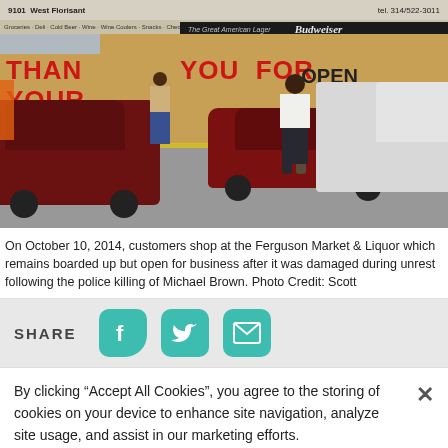[Figure (photo): Exterior of Ferguson Market & Liquor store at 9101 West Florisant, boarded up with plywood after damage during unrest, with graffiti reading 'THANK YOU FOR' and 'OPEN' signs. Cars parked in lot: red PT Cruiser, red sedan, white pickup truck. A Black man in white shirt and dark shorts walks across the parking lot. Another person visible in background.]
On October 10, 2014, customers shop at the Ferguson Market & Liquor which remains boarded up but open for business after it was damaged during unrest following the police killing of Michael Brown. Photo Credit: Scott
SHARE
By clicking “Accept All Cookies”, you agree to the storing of cookies on your device to enhance site navigation, analyze site usage, and assist in our marketing efforts.